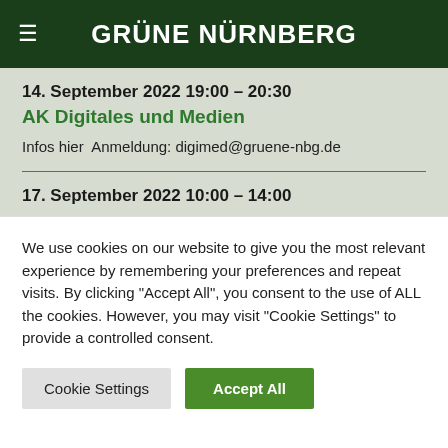GRÜNE NÜRNBERG
14. September 2022 19:00 – 20:30
AK Digitales und Medien
Infos hier  Anmeldung: digimed@gruene-nbg.de
17. September 2022 10:00 – 14:00
We use cookies on our website to give you the most relevant experience by remembering your preferences and repeat visits. By clicking "Accept All", you consent to the use of ALL the cookies. However, you may visit "Cookie Settings" to provide a controlled consent.
Cookie Settings | Accept All